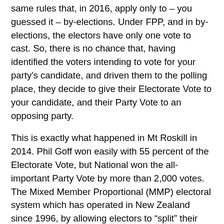same rules that, in 2016, apply only to – you guessed it – by-elections. Under FPP, and in by-elections, the electors have only one vote to cast. So, there is no chance that, having identified the voters intending to vote for your party's candidate, and driven them to the polling place, they decide to give their Electorate Vote to your candidate, and their Party Vote to an opposing party.
This is exactly what happened in Mt Roskill in 2014. Phil Goff won easily with 55 percent of the Electorate Vote, but National won the all-important Party Vote by more than 2,000 votes. The Mixed Member Proportional (MMP) electoral system which has operated in New Zealand since 1996, by allowing electors to “split” their two votes between two different parties, has rendered the highly effective “machine” politics of FPP frustratingly unreliable.
Except at by-elections. Knowing this, Wood was able to assemble and operate an old-fashioned “election-day system” to “get out the vote” in Mt Roskill.
An election-day system is a complex process for identifying